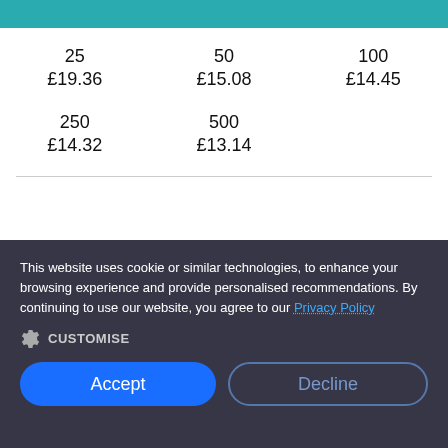| 25 | 50 | 100 |
| £19.36 | £15.08 | £14.45 |
| 250 | 500 |  |
| £14.32 | £13.14 |  |
This website uses cookie or similar technologies, to enhance your browsing experience and provide personalised recommendations. By continuing to use our website, you agree to our Privacy Policy
CUSTOMISE
Accept
Decline